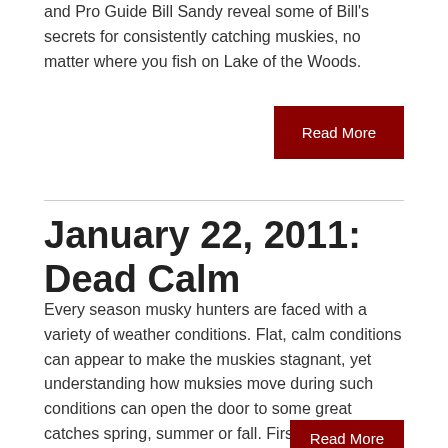and Pro Guide Bill Sandy reveal some of Bill's secrets for consistently catching muskies, no matter where you fish on Lake of the Woods.
Read More
January 22, 2011: Dead Calm
Every season musky hunters are faced with a variety of weather conditions. Flat, calm conditions can appear to make the muskies stagnant, yet understanding how muksies move during such conditions can open the door to some great catches spring, summer or fall. First, Jim Saric and musky hunter Scott Schuster handle an early summer heat wave. Then, Jim Saric and Pro Guide Gregg Thomas tackle calm conditions during a fall cold snap.